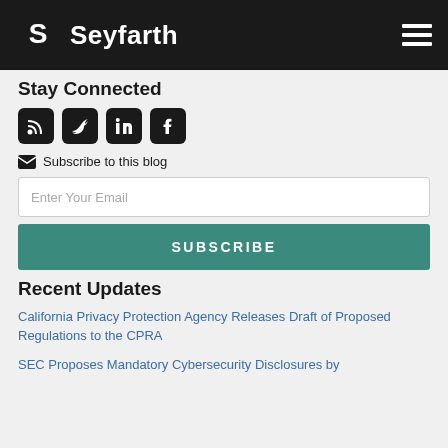Seyfarth
Stay Connected
[Figure (logo): Social media icons: RSS, Twitter, LinkedIn, Facebook]
Subscribe to this blog
Enter Your Email
SUBSCRIBE
Recent Updates
California Privacy Protection Agency Releases Draft of Proposed Regulations to the CPRA
SEC Proposes Mandatory Cybersecurity Disclosures by